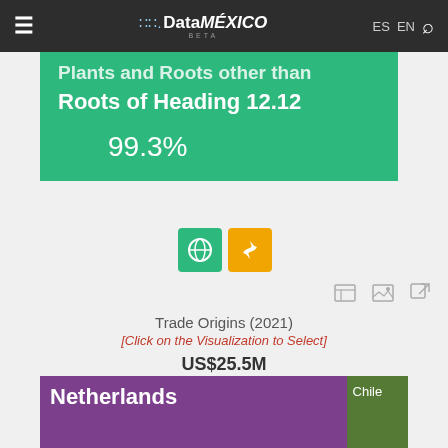DataMÉXICO BETA — ES EN [Search]
Plants and Roots other than Roots of Heading 12.12
99.3%
[Figure (infographic): Two colored icon boxes: green box with a globe/earth icon and orange box with a recycle/arrows icon]
[Figure (infographic): Three tool/action icons: table icon, image/gallery icon, external link icon]
Trade Origins (2021)
[Click on the Visualization to Select]
US$25.5M
[Figure (infographic): Treemap showing trade origins: Netherlands (large purple block) and Chile (smaller green block)]